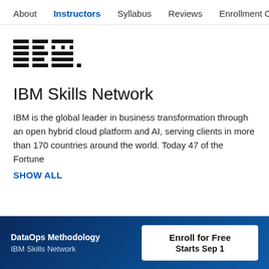About   Instructors   Syllabus   Reviews   Enrollment Opt
[Figure (logo): IBM striped logo with horizontal lines forming letters I, B, M and a period]
IBM Skills Network
IBM is the global leader in business transformation through an open hybrid cloud platform and AI, serving clients in more than 170 countries around the world. Today 47 of the Fortune
SHOW ALL
DataOps Methodology IBM Skills Network   Enroll for Free Starts Sep 1